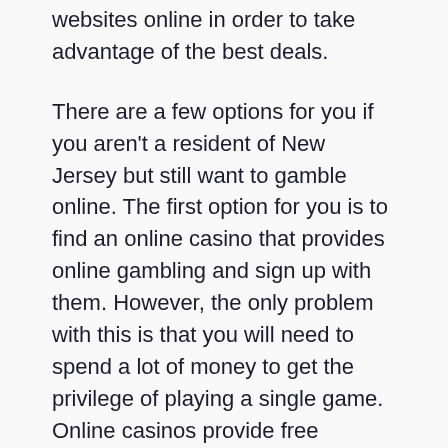websites online in order to take advantage of the best deals.
There are a few options for you if you aren't a resident of New Jersey but still want to gamble online. The first option for you is to find an online casino that provides online gambling and sign up with them. However, the only problem with this is that you will need to spend a lot of money to get the privilege of playing a single game. Online casinos provide free games. This is a great option because you can sign up at different casinos before you make your final choice.
If you want to really enjoy playing games at a casino and sports betting, you can play for no cost. This comes with many risks. You can only make a small profit. You can win large if you're patient, and willing